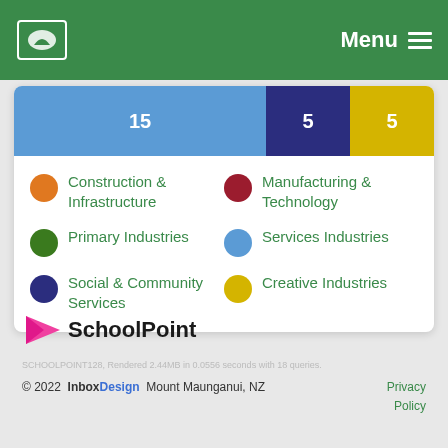Menu
[Figure (stacked-bar-chart): Industry category bar]
Construction & Infrastructure
Manufacturing & Technology
Primary Industries
Services Industries
Social & Community Services
Creative Industries
[Figure (logo): SchoolPoint logo with pink arrow]
SCHOOLPOINT128, Rendered 2.44MB in 0.0556 seconds with 18 queries.
© 2022  InboxDesign  Mount Maunganui, NZ    Privacy Policy